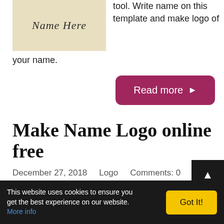[Figure (illustration): A beige/cream colored rectangle serving as a logo template placeholder with the text 'Name Here' displayed in italic serif font at the top center]
tool. Write name on this template and make logo of your name.
Read more ►
Make Name Logo online free
December 27, 2018    Logo    Comments: 0
This website uses cookies to ensure you get the best experience on our website. More info
Got It!